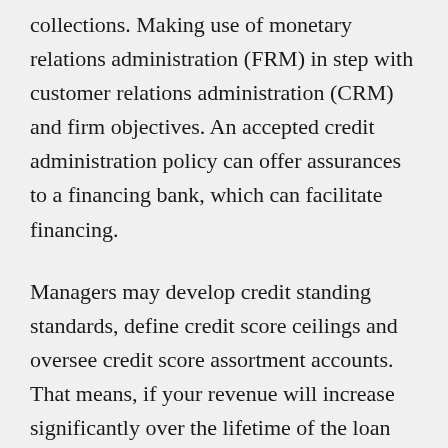collections. Making use of monetary relations administration (FRM) in step with customer relations administration (CRM) and firm objectives. An accepted credit administration policy can offer assurances to a financing bank, which can facilitate financing.
Managers may develop credit standing standards, define credit score ceilings and oversee credit score assortment accounts. That means, if your revenue will increase significantly over the lifetime of the loan (20-25 years), your payments will proceed to develop. We've used the services of ACT Credit Administration for the last ten years for each our debt collection work and